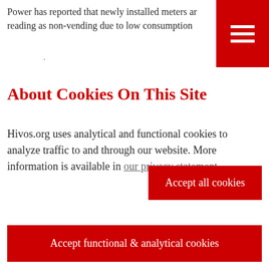Power has reported that newly installed meters are reading as non-vending due to low consumption
About Cookies On This Site
Hivos.org uses analytical and functional cookies to analyze traffic to and through our website. More information is available in our privacy statement.
Accept all cookies
Accept functional & analytical cookies